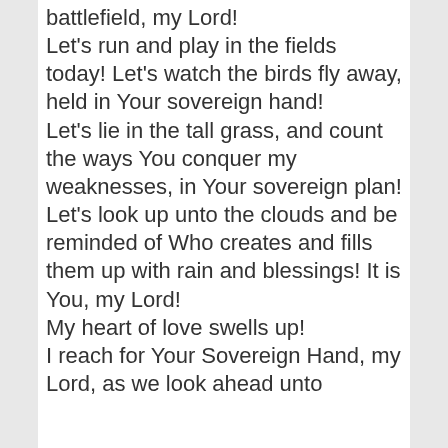battlefield, my Lord! Let's run and play in the fields today! Let's watch the birds fly away, held in Your sovereign hand! Let's lie in the tall grass, and count the ways You conquer my weaknesses, in Your sovereign plan! Let's look up unto the clouds and be reminded of Who creates and fills them up with rain and blessings! It is You, my Lord! My heart of love swells up! I reach for Your Sovereign Hand, my Lord, as we look ahead unto